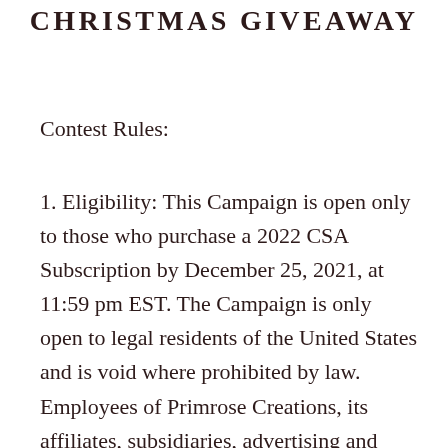CHRISTMAS GIVEAWAY
Contest Rules:
1. Eligibility: This Campaign is open only to those who purchase a 2022 CSA Subscription by December 25, 2021, at 11:59 pm EST. The Campaign is only open to legal residents of the United States and is void where prohibited by law. Employees of Primrose Creations, its affiliates, subsidiaries, advertising and promotion agencies, and suppliers, (collectively the “Employees”), and